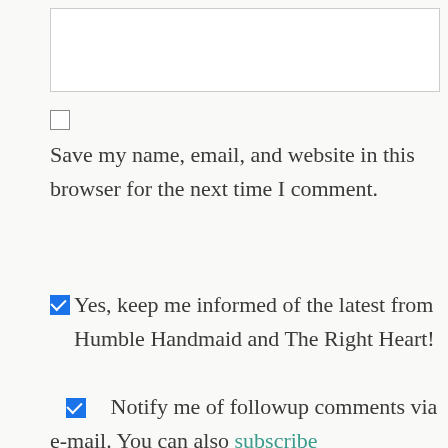[Figure (other): A white input/text box (form field) at the top of the page]
[Figure (other): An unchecked checkbox]
Save my name, email, and website in this browser for the next time I comment.
[Figure (other): A checked (blue) checkbox]
Yes, keep me informed of the latest from Humble Handmaid and The Right Heart!
[Figure (other): A checked (blue) checkbox]
Notify me of followup comments via e-mail. You can also subscribe